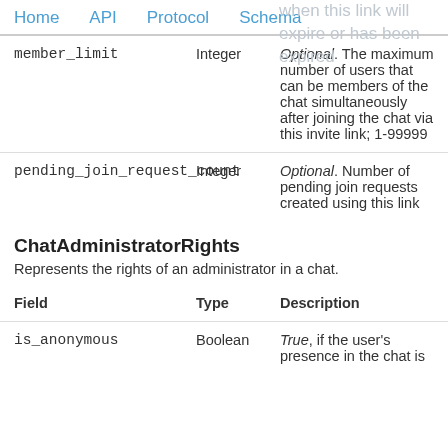Home  API  Protocol  Schema
| Field | Type | Description |
| --- | --- | --- |
| member_limit | Integer | Optional. The maximum number of users that can be members of the chat simultaneously after joining the chat via this invite link; 1-99999 |
| pending_join_request_count | Integer | Optional. Number of pending join requests created using this link |
ChatAdministratorRights
Represents the rights of an administrator in a chat.
| Field | Type | Description |
| --- | --- | --- |
| is_anonymous | Boolean | True, if the user's presence in the chat is |